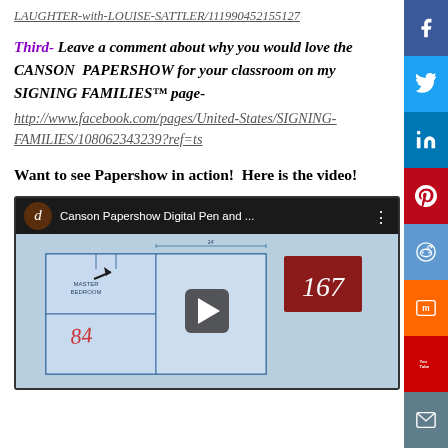LAUGHTER-with-LOUISE-SATTLER/111990452155127
Third- Leave a comment about why you would love the CANSON PAPERSHOW for your classroom on my SIGNING FAMILIES™ page- http://www.facebook.com/pages/United-States/SIGNING-FAMILIES/108062343239?ref=ts
Want to see Papershow in action!  Here is the video!
[Figure (screenshot): YouTube video thumbnail for 'Canson Papershow Digital Pen and ...' showing a blueprint/floor plan with handwritten numbers 167 and 84, and a play button overlay. Channel icon shows letter 'd'.]